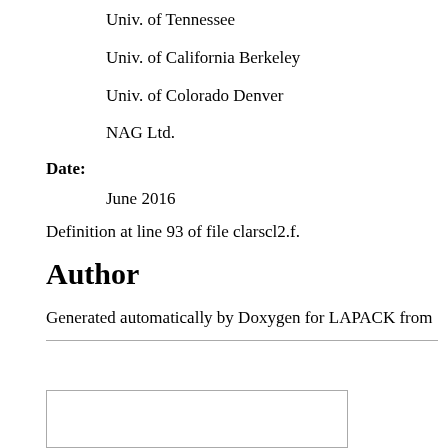Univ. of Tennessee
Univ. of California Berkeley
Univ. of Colorado Denver
NAG Ltd.
Date:
June 2016
Definition at line 93 of file clarscl2.f.
Author
Generated automatically by Doxygen for LAPACK from